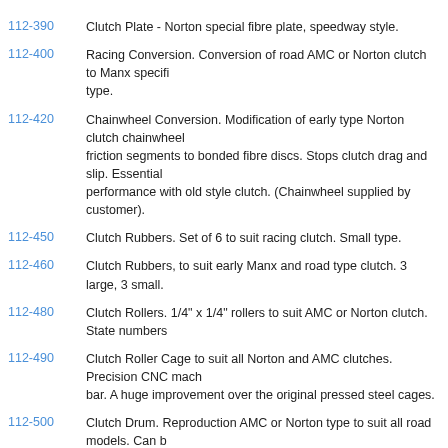112-390  Clutch Plate - Norton special fibre plate, speedway style.
112-400  Racing Conversion. Conversion of road AMC or Norton clutch to Manx speci... type.
112-420  Chainwheel Conversion. Modification of early type Norton clutch chainwheel friction segments to bonded fibre discs. Stops clutch drag and slip. Essential performance with old style clutch. (Chainwheel supplied by customer).
112-450  Clutch Rubbers. Set of 6 to suit racing clutch. Small type.
112-460  Clutch Rubbers, to suit early Manx and road type clutch. 3 large, 3 small.
112-480  Clutch Rollers. 1/4" x 1/4" rollers to suit AMC or Norton clutch. State numbers...
112-490  Clutch Roller Cage to suit all Norton and AMC clutches. Precision CNC mach... bar. A huge improvement over the original pressed steel cages.
112-500  Clutch Drum. Reproduction AMC or Norton type to suit all road models. Can ... suit Manx.
112-505  Clutch Drum. Manx-AMC. To suit all Manx models, with 5/16" wide slots 6 x c...
112-505  Clutch Drum. Manx Laydown and Dolls-head. To suit all Manx models, with 3... x cover screws.
112-510  Clutch Spider. Reproduction to suit AMC road models.